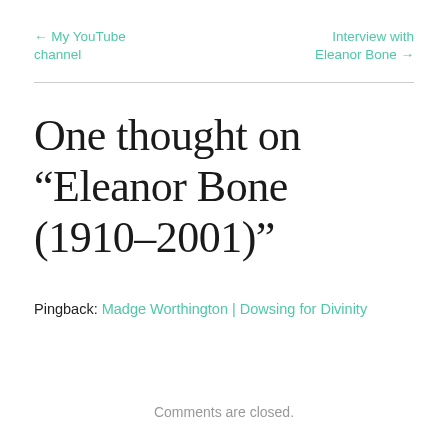← My YouTube channel
Interview with Eleanor Bone →
One thought on “Eleanor Bone (1910–2001)”
Pingback: Madge Worthington | Dowsing for Divinity
Comments are closed.